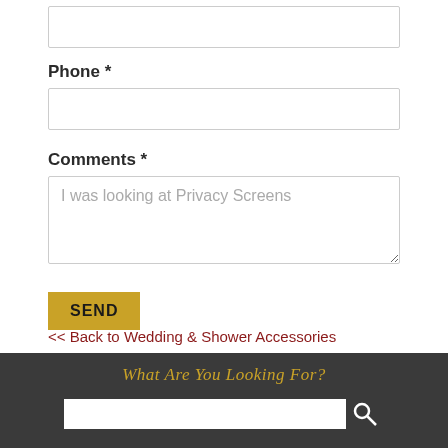[Figure (screenshot): Empty text input box at the top of the form (partially visible, likely an email or name field)]
Phone *
[Figure (screenshot): Phone input text box]
Comments *
[Figure (screenshot): Comments textarea with placeholder text: I was looking at Privacy Screens]
[Figure (screenshot): SEND button in gold/yellow color]
<< Back to Wedding & Shower Accessories
What Are You Looking For?
[Figure (screenshot): Search input box with search icon]